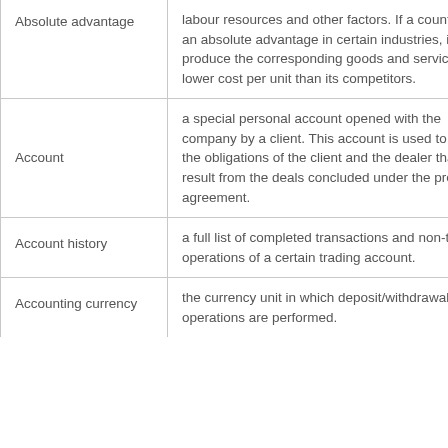| Term | Definition |
| --- | --- |
| Absolute advantage | labour resources and other factors. If a country has an absolute advantage in certain industries, it can produce the corresponding goods and services at a lower cost per unit than its competitors. |
| Account | a special personal account opened with the company by a client. This account is used to offset the obligations of the client and the dealer that result from the deals concluded under the present agreement. |
| Account history | a full list of completed transactions and non-trading operations of a certain trading account. |
| Accounting currency | the currency unit in which deposit/withdrawal operations are performed. |